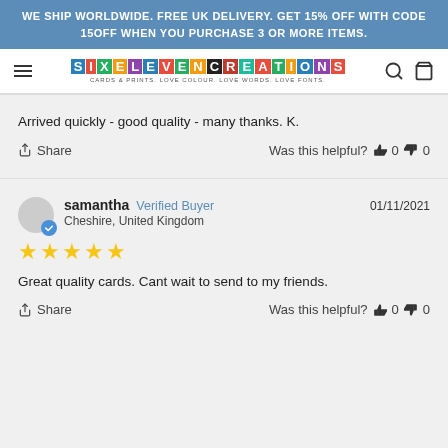WE SHIP WORLDWIDE. FREE UK DELIVERY. GET 15% OFF WITH CODE 15OFF WHEN YOU PURCHASE 3 OR MORE ITEMS.
[Figure (logo): SixEleven Creations logo with colorful letter blocks. Tagline: CARDS & PRINTS. LOVE COLOUR. LOVE WORDS. LOVE FONTS.]
Arrived quickly - good quality - many thanks. K.
Share   Was this helpful? 👍 0 👎 0
samantha  Verified Buyer  01/11/2021
Cheshire, United Kingdom
★★★★★
Great quality cards. Cant wait to send to my friends.
Share   Was this helpful? 👍 0 👎 0